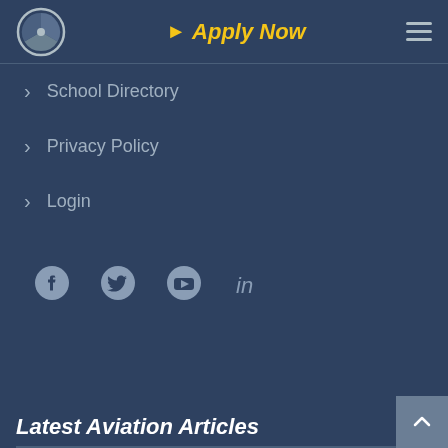Apply Now
School Directory
Privacy Policy
Login
[Figure (other): Social media icons row: Facebook, Twitter, YouTube, LinkedIn]
Latest Aviation Articles